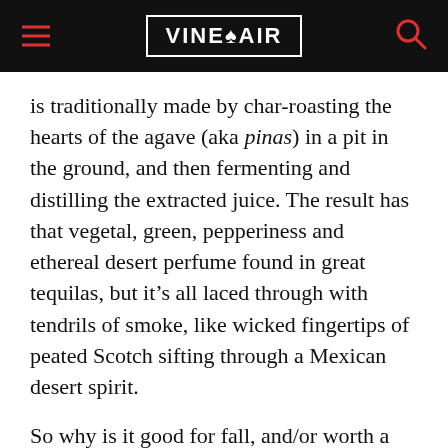VINEPAIR
is traditionally made by char-roasting the hearts of the agave (aka pinas) in a pit in the ground, and then fermenting and distilling the extracted juice. The result has that vegetal, green, pepperiness and ethereal desert perfume found in great tequilas, but it’s all laced through with tendrils of smoke, like wicked fingertips of peated Scotch sifting through a Mexican desert spirit.
So why is it good for fall, and/or worth a try for mezcal newbies? It’s a bit more expensive, sure,